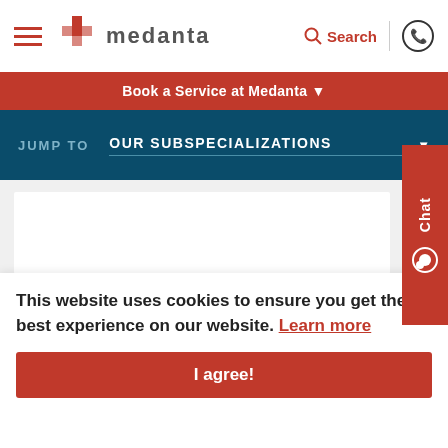[Figure (logo): Medanta hospital logo with red cross symbol and medanta text]
Book a Service at Medanta ▾
JUMP TO   OUR SUBSPECIALIZATIONS ▼
[Figure (other): Chat tab widget on right side]
Know more about our sub-specialization
This website uses cookies to ensure you get the best experience on our website. Learn more
I agree!